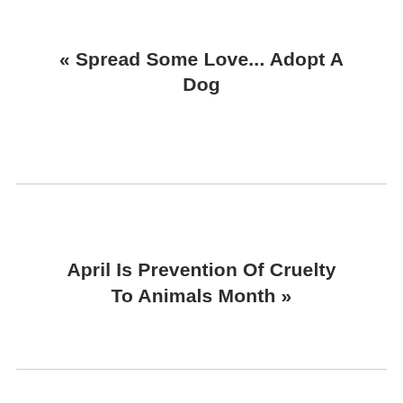« Spread Some Love... Adopt A Dog
April Is Prevention Of Cruelty To Animals Month »